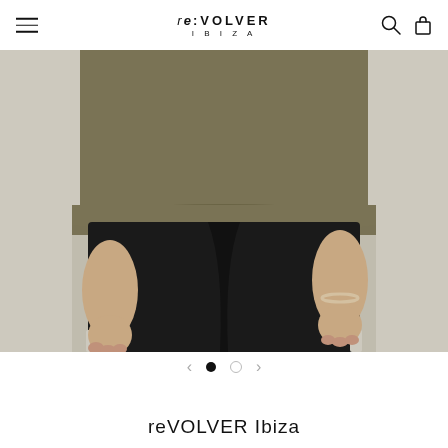re:VOLVER IBIZA
[Figure (photo): Man wearing an olive/khaki draped top with black shorts, cropped from chest to mid-thigh, standing against a light beige/grey background.]
← ● ○ →
reVOLVER Ibiza